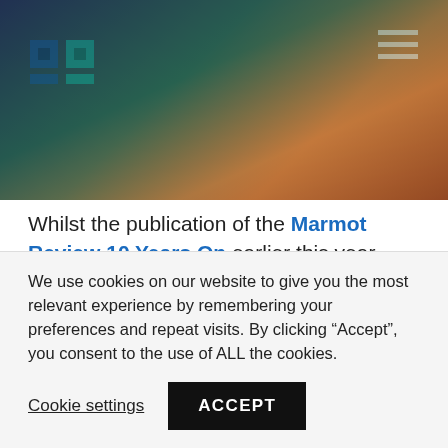[Figure (photo): Hero banner with a photo of hands (warm tones, outdoor background) with a dark blue/teal and orange gradient overlay. Organization logo (blue/teal geometric mark) in top-left corner. Hamburger menu icon in top-right corner.]
Whilst the publication of the Marmot Review 10 Years On earlier this year highlighted widening health inequalities across the UK, COVID-19 has made this ever more prevalent. Together for Health asks how can this crisis be turned into an opportunity, making this the decade of progress
We use cookies on our website to give you the most relevant experience by remembering your preferences and repeat visits. By clicking “Accept”, you consent to the use of ALL the cookies.
Cookie settings  ACCEPT